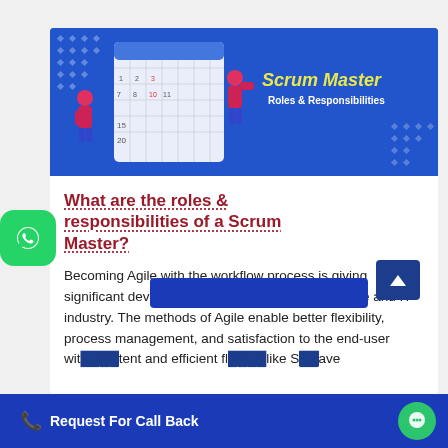[Figure (illustration): Banner image with blue background showing two illustrated figures near a calendar. Text reads 'Scrum Master Roles & Responsibilities' in yellow and white.]
What are the roles & responsibilities of a Scrum Master?
Becoming Agile with the workflow process is giving significant development and growth in the Software and IT industry. The methods of Agile enable better flexibility, process management, and satisfaction to the end-user with content and efficient fl... like S... ave
Request For Call Back